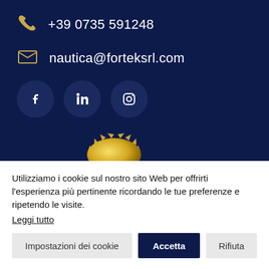+39 0735 591248
nautica@forteksrl.com
[Figure (illustration): Social media icons: Facebook, LinkedIn, Instagram on dark circular backgrounds]
[Figure (illustration): Partially visible gold badge/seal at bottom of dark section]
Utilizziamo i cookie sul nostro sito Web per offrirti l'esperienza più pertinente ricordando le tue preferenze e ripetendo le visite. Leggi tutto
Impostazioni dei cookie
Accetta
Rifiuta